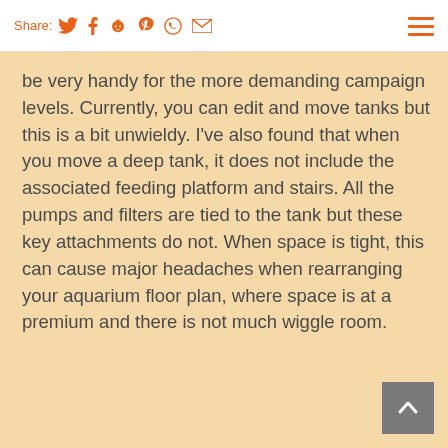Share: [twitter] [facebook] [reddit] [pinterest] [whatsapp] [email] [menu]
be very handy for the more demanding campaign levels. Currently, you can edit and move tanks but this is a bit unwieldy. I’ve also found that when you move a deep tank, it does not include the associated feeding platform and stairs. All the pumps and filters are tied to the tank but these key attachments do not. When space is tight, this can cause major headaches when rearranging your aquarium floor plan, where space is at a premium and there is not much wiggle room.